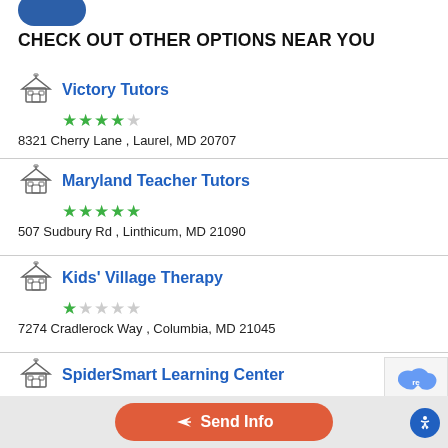CHECK OUT OTHER OPTIONS NEAR YOU
Victory Tutors
★★★★☆
8321 Cherry Lane , Laurel, MD 20707
Maryland Teacher Tutors
★★★★★
507 Sudbury Rd , Linthicum, MD 21090
Kids' Village Therapy
★☆☆☆☆
7274 Cradlerock Way , Columbia, MD 21045
SpiderSmart Learning Center